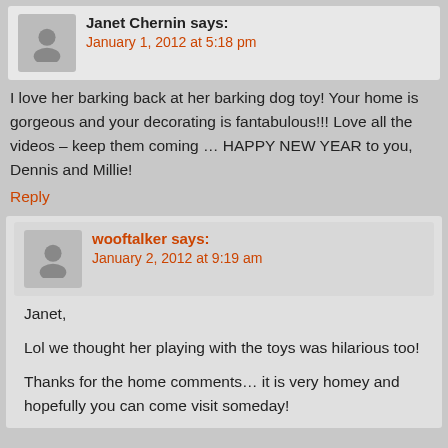Janet Chernin says: January 1, 2012 at 5:18 pm
I love her barking back at her barking dog toy! Your home is gorgeous and your decorating is fantabulous!!! Love all the videos – keep them coming … HAPPY NEW YEAR to you, Dennis and Millie!
Reply
wooftalker says: January 2, 2012 at 9:19 am
Janet,
Lol we thought her playing with the toys was hilarious too!
Thanks for the home comments… it is very homey and hopefully you can come visit someday!